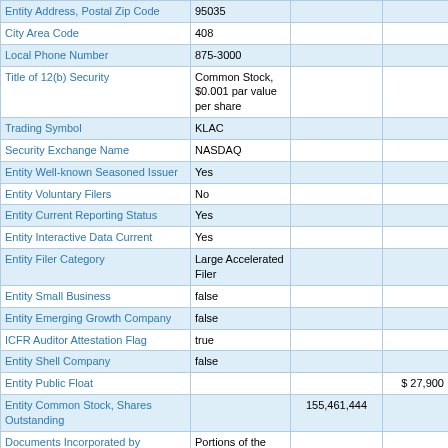| Field | Value1 | Value2 | Value3 |
| --- | --- | --- | --- |
| Entity Address, Postal Zip Code | 95035 |  |  |
| City Area Code | 408 |  |  |
| Local Phone Number | 875-3000 |  |  |
| Title of 12(b) Security | Common Stock, $0.001 par value per share |  |  |
| Trading Symbol | KLAC |  |  |
| Security Exchange Name | NASDAQ |  |  |
| Entity Well-known Seasoned Issuer | Yes |  |  |
| Entity Voluntary Filers | No |  |  |
| Entity Current Reporting Status | Yes |  |  |
| Entity Interactive Data Current | Yes |  |  |
| Entity Filer Category | Large Accelerated Filer |  |  |
| Entity Small Business | false |  |  |
| Entity Emerging Growth Company | false |  |  |
| ICFR Auditor Attestation Flag | true |  |  |
| Entity Shell Company | false |  |  |
| Entity Public Float |  |  | $ 27,900 |
| Entity Common Stock, Shares Outstanding |  | 155,461,444 |  |
| Documents Incorporated by Reference | Portions of the Proxy Statement for the 2020 Annual Meeting of Stockholders ("Proxy... |  |  |